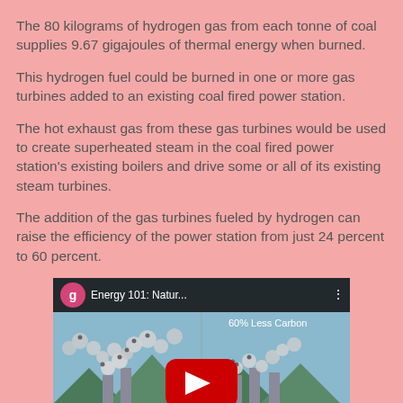The 80 kilograms of hydrogen gas from each tonne of coal supplies 9.67 gigajoules of thermal energy when burned.
This hydrogen fuel could be burned in one or more gas turbines added to an existing coal fired power station.
The hot exhaust gas from these gas turbines would be used to create superheated steam in the coal fired power station's existing boilers and drive some or all of its existing steam turbines.
The addition of the gas turbines fueled by hydrogen can raise the efficiency of the power station from just 24 percent to 60 percent.
[Figure (screenshot): YouTube video thumbnail for 'Energy 101: Natur...' showing animated coal power station smokestacks with '60% Less Carbon' text overlay, a YouTube play button, and a Google account icon with letter g.]